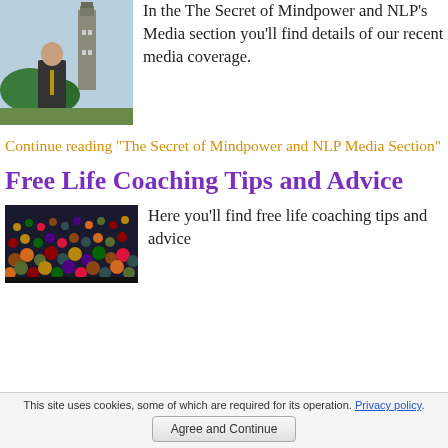[Figure (photo): Man in suit standing outdoors near Big Ben, London]
In the The Secret of Mindpower and NLP's Media section you'll find details of our recent media coverage.
Continue reading "The Secret of Mindpower and NLP Media Section"
Free Life Coaching Tips and Advice
[Figure (photo): Crowd of people at a sporting event or rally]
Here you'll find free life coaching tips and advice
This site uses cookies, some of which are required for its operation. Privacy policy. Agree and Continue